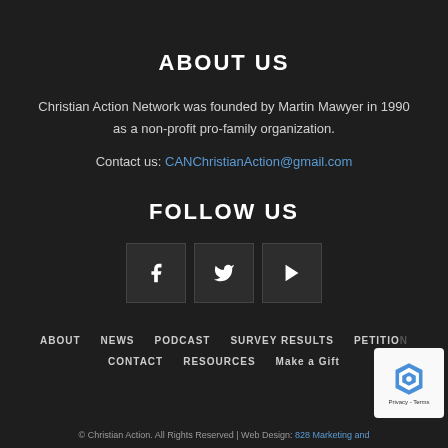ABOUT US
Christian Action Network was founded by Martin Mawyer in 1990 as a non-profit pro-family organization.
Contact us: CANChristianAction@gmail.com
FOLLOW US
[Figure (infographic): Three social media icon buttons: Facebook (f), Twitter (bird), YouTube (play button)]
ABOUT  NEWS  PODCAST  SURVEY RESULTS  PETITIONS  CONTACT  RESOURCES  Make a Gift
© Christian Action. All Rights Reserved | Web Design: 828 Marketing and